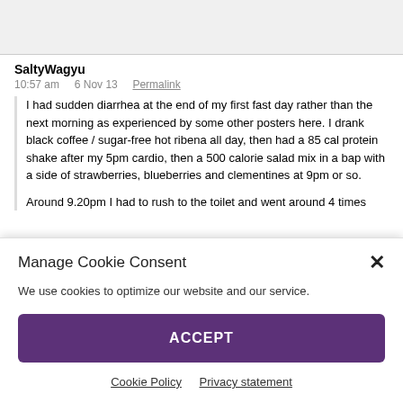SaltyWagyu
10:57 am    6 Nov 13    Permalink
I had sudden diarrhea at the end of my first fast day rather than the next morning as experienced by some other posters here. I drank black coffee / sugar-free hot ribena all day, then had a 85 cal protein shake after my 5pm cardio, then a 500 calorie salad mix in a bap with a side of strawberries, blueberries and clementines at 9pm or so.
Around 9.20pm I had to rush to the toilet and went around 4 times
Manage Cookie Consent
We use cookies to optimize our website and our service.
ACCEPT
Cookie Policy    Privacy statement